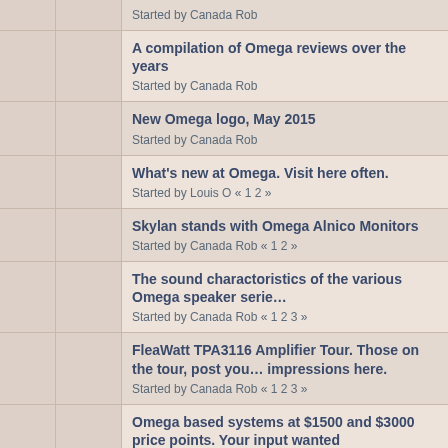Started by Canada Rob
A compilation of Omega reviews over the years
Started by Canada Rob
New Omega logo, May 2015
Started by Canada Rob
What's new at Omega. Visit here often.
Started by Louis O « 1 2 »
Skylan stands with Omega Alnico Monitors
Started by Canada Rob « 1 2 »
The sound charactoristics of the various Omega speaker series
Started by Canada Rob « 1 2 3 »
FleaWatt TPA3116 Amplifier Tour. Those on the tour, post your impressions here.
Started by Canada Rob « 1 2 3 »
Omega based systems at $1500 and $3000 price points. Your input wanted
Started by Canada Rob « 1 2 3 »
Good Class D amplification and Omega speakers are a winning combo
Started by Canada Rob « 1 2 3 4 »
Great news: an affordable Canadian made SET amplifier. The Wolf Ear Kitoki.
Started by Canada Rob « 1 2 3 4 »
Pictures of my rig with Omega Speakers